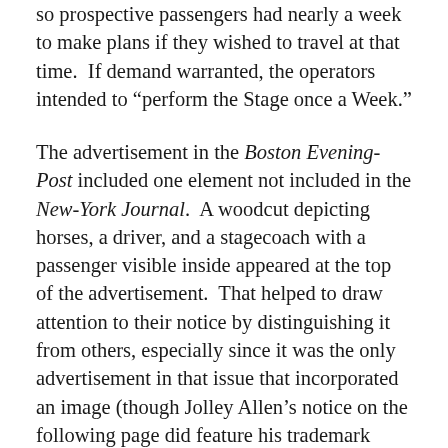so prospective passengers had nearly a week to make plans if they wished to travel at that time.  If demand warranted, the operators intended to “perform the Stage once a Week.”
The advertisement in the Boston Evening-Post included one element not included in the New-York Journal.  A woodcut depicting horses, a driver, and a stagecoach with a passenger visible inside appeared at the top of the advertisement.  That helped to draw attention to their notice by distinguishing it from others, especially since it was the only advertisement in that issue that incorporated an image (though Jolley Allen’s notice on the following page did feature his trademark border).